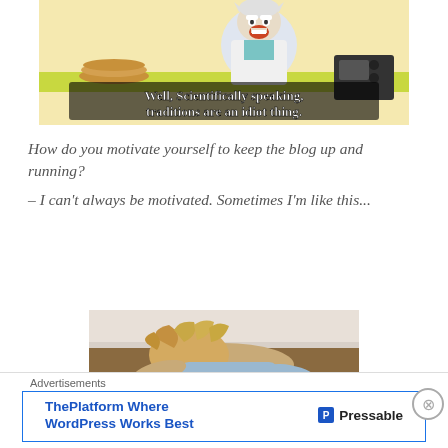[Figure (screenshot): Animated screenshot from Rick and Morty cartoon showing Rick at a desk with subtitle text: 'Well, Scientifically speaking, traditions are an idiot thing.']
How do you motivate yourself to keep the blog up and running?
– I can't always be motivated. Sometimes I'm like this...
[Figure (photo): Photo of a child face-down on the floor with messy blonde hair, appearing to be lying flat/defeated.]
Advertisements
ThePlatform Where WordPress Works Best   P Pressable